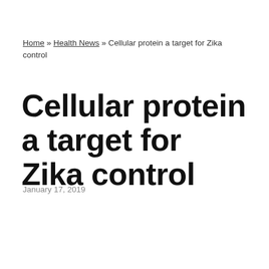Home » Health News » Cellular protein a target for Zika control
Cellular protein a target for Zika control
January 17, 2019